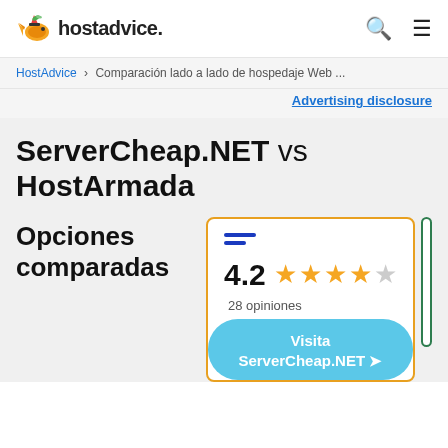hostadvice. [search icon] [menu icon]
HostAdvice › Comparación lado a lado de hospedaje Web ...
Advertising disclosure
ServerCheap.NET vs HostArmada
Opciones comparadas
[Figure (other): ServerCheap.NET rating card with hamburger menu icon, 4.2 stars (28 opiniones), and Visita ServerCheap.NET button]
[Figure (other): Partially visible second comparison card with green border]